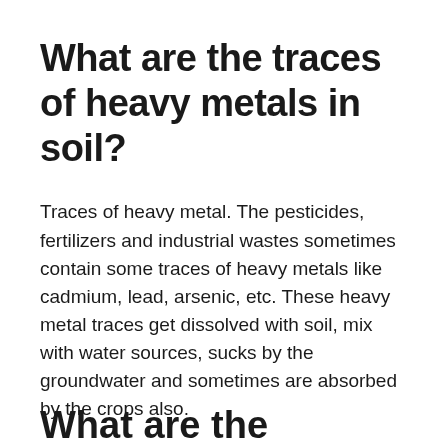What are the traces of heavy metals in soil?
Traces of heavy metal. The pesticides, fertilizers and industrial wastes sometimes contain some traces of heavy metals like cadmium, lead, arsenic, etc. These heavy metal traces get dissolved with soil, mix with water sources, sucks by the groundwater and sometimes are absorbed by the crops also.
What are the...